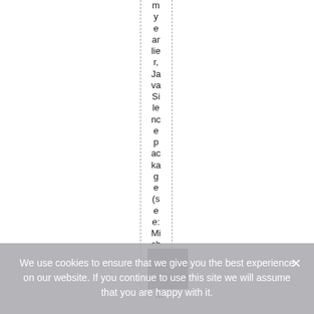m y e ar lie r, Ja va Si le nc e p ac ka g e (s e e: Mi ch a e l o gr
[Figure (other): Gray square image placeholder]
M
We use cookies to ensure that we give you the best experience on our website. If you continue to use this site we will assume that you are happy with it.